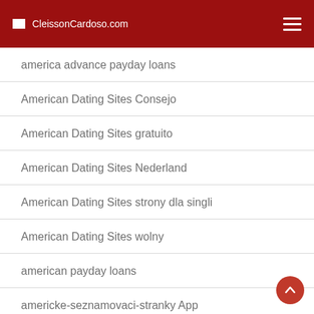CleissonCardoso.com
america advance payday loans
American Dating Sites Consejo
American Dating Sites gratuito
American Dating Sites Nederland
American Dating Sites strony dla singli
American Dating Sites wolny
american payday loans
americke-seznamovaci-stranky App